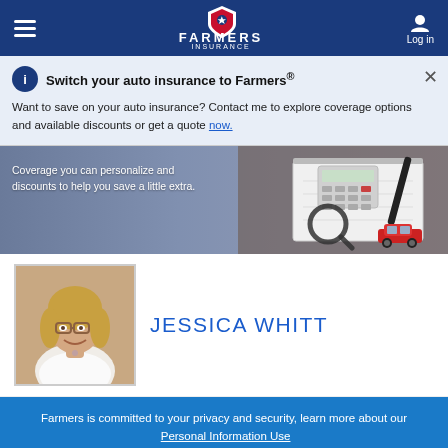[Figure (screenshot): Farmers Insurance navigation bar with hamburger menu, Farmers Insurance logo, and Log in button]
Switch your auto insurance to Farmers®
Want to save on your auto insurance? Contact me to explore coverage options and available discounts or get a quote now.
[Figure (photo): Hero banner showing a desk with calculator, magnifying glass, pen, notebook and a small red toy car on a wooden table surface with text: Coverage you can personalize and discounts to help you save a little extra.]
[Figure (photo): Portrait photo of agent Jessica Whitt, a blonde woman with glasses smiling]
JESSICA WHITT
Farmers is committed to your privacy and security, learn more about our Personal Information Use
OKAY